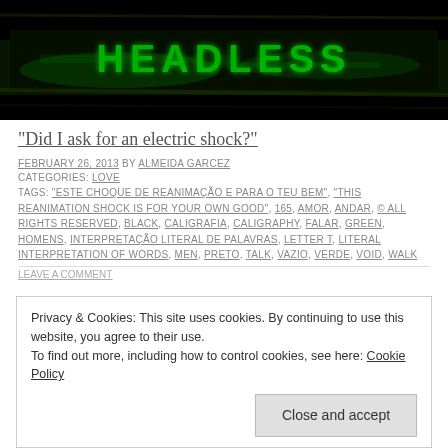[Figure (photo): Dark banner image with green glowing text/graffiti on black background]
“Did I ask for an electric shock?”
FEBRUARY 26, 2013 BY ALMEIDA GARCEZ
CATEGORIES: LOVE
TAGS: “ESTE CHOQUE DE REANIMAÇÃO E PARA O TEU BEM”, “THIS REANIMATION SHOCK IS FOR YOUR OWN GOOD”, 165, AMOR, ANDAR, © ALL RIGHTS RESERVED, BLACK, CALIGRAFIA, CALIGRAPHY, FALAR, GREEN, HOMENS, INTERPRETAÇÃO LITERAL DE PALAVRAS, LETTER T, LITERAL INTERPRETATION OF WORDS, MEN, PRETO, TALK, VAZIO, VERDE, VOID, WALK
LEAVE A COMMENT
Privacy & Cookies: This site uses cookies. By continuing to use this website, you agree to their use.
To find out more, including how to control cookies, see here: Cookie Policy
Close and accept
HEADLESS ADDICTION